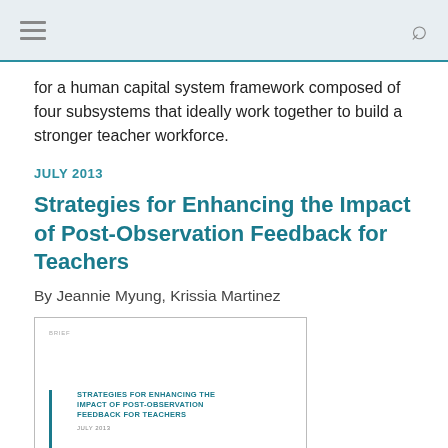for a human capital system framework composed of four subsystems that ideally work together to build a stronger teacher workforce.
JULY 2013
Strategies for Enhancing the Impact of Post-Observation Feedback for Teachers
By Jeannie Myung, Krissia Martinez
[Figure (other): Thumbnail image of a brief document cover titled 'Strategies for Enhancing the Impact of Post-Observation Feedback for Teachers', dated July 2013, with a teal left border accent bar.]